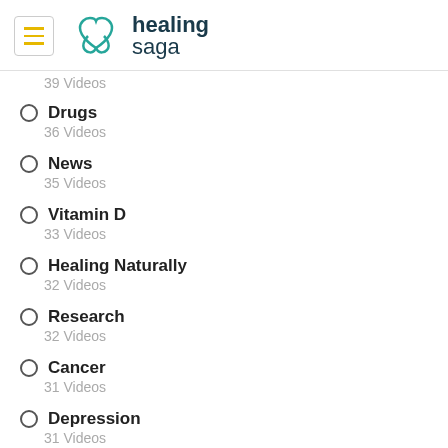healing saga
39 Videos
Drugs
36 Videos
News
35 Videos
Vitamin D
33 Videos
Healing Naturally
32 Videos
Research
32 Videos
Cancer
31 Videos
Depression
31 Videos
Keto & Low carb
31 Videos
Healing Stories